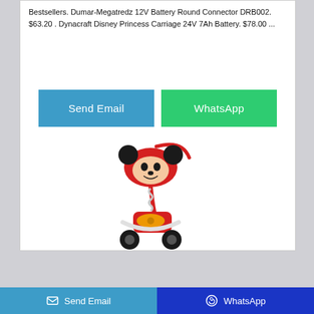Bestsellers. Dumar-Megatredz 12V Battery Round Connector DRB002. $63.20 . Dynacraft Disney Princess Carriage 24V 7Ah Battery. $78.00 ...
[Figure (illustration): Two call-to-action buttons: 'Send Email' (blue) and 'WhatsApp' (green)]
[Figure (photo): Mickey Mouse themed children's ride-on toy or scooter with red body, Mickey Mouse steering wheel/disc on top, yellow handlebars, black wheels]
Send Email   WhatsApp